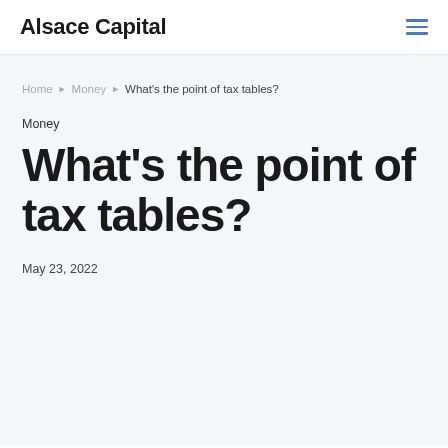Alsace Capital
Home ▶ Money ▶ What's the point of tax tables?
Money
What's the point of tax tables?
May 23, 2022